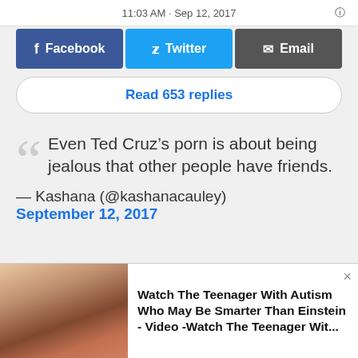11:03 AM · Sep 12, 2017
[Figure (screenshot): Social share buttons: Facebook, Twitter, Email]
Read 653 replies
Even Ted Cruz’s porn is about being jealous that other people have friends.
— Kashana (@kashanacauley) September 12, 2017
[Figure (screenshot): Tweet card: Tea Pain @TeaPainUSA · Follow]
[Figure (screenshot): Ad overlay: Watch The Teenager With Autism Who May Be Smarter Than Einstein - Video -Watch The Teenager Wit...]